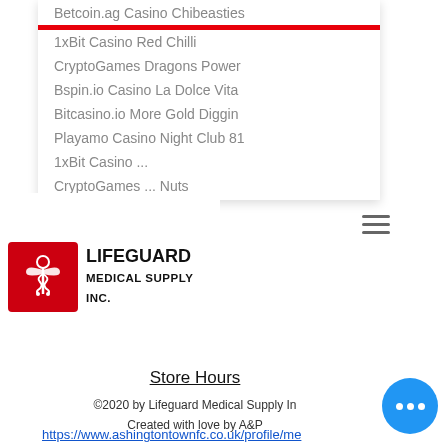Betcoin.ag Casino Chibeasties
1xBit Casino Red Chilli
CryptoGames Dragons Power
Bspin.io Casino La Dolce Vita
Bitcasino.io More Gold Diggin
Playamo Casino Night Club 81
1xBit Casino ...
CryptoGames ... Nuts
[Figure (logo): Lifeguard Medical Supply Inc. logo - red square with caduceus/medical symbol and company name]
https://www.ashingtownfc.co.uk/profile/me
Search...
zza9491723/profile
https://www.neolth.com/profile/warnersakshauug475013/profile
https://www.tipsandbricks.co.uk/profile/tieradunsworth1141978/profile
https://www.sebastianzurita.com/profile/allenderoberts373418/profile
Store Hours
©2020 by Lifeguard Medical Supply Inc.
Created with love by A&P